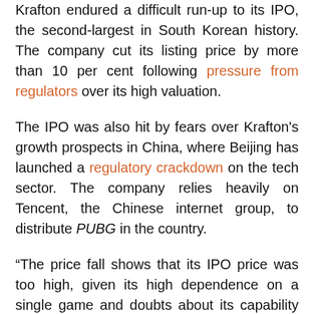Krafton endured a difficult run-up to its IPO, the second-largest in South Korean history. The company cut its listing price by more than 10 per cent following pressure from regulators over its high valuation.
The IPO was also hit by fears over Krafton's growth prospects in China, where Beijing has launched a regulatory crackdown on the tech sector. The company relies heavily on Tencent, the Chinese internet group, to distribute PUBG in the country.
“The price fall shows that its IPO price was too high, given its high dependence on a single game and doubts about its capability to develop new hit games,” said Wi Jong-hyun, an economics professor at Chung-Ang University in Seoul. “About half the current price seems to be fair value to me.